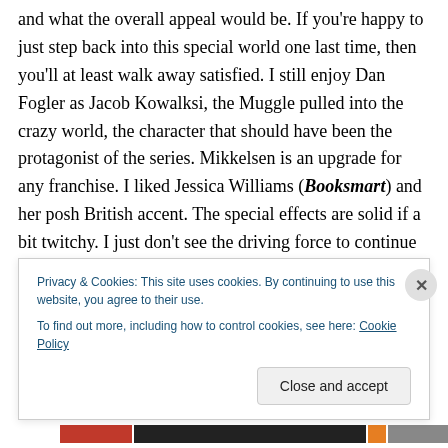and what the overall appeal would be. If you're happy to just step back into this special world one last time, then you'll at least walk away satisfied. I still enjoy Dan Fogler as Jacob Kowalksi, the Muggle pulled into the crazy world, the character that should have been the protagonist of the series. Mikkelsen is an upgrade for any franchise. I liked Jessica Williams (Booksmart) and her posh British accent. The special effects are solid if a bit twitchy. I just don't see the driving force to continue this series, and Warner Brothers as of this writing has not greenlit either of
Privacy & Cookies: This site uses cookies. By continuing to use this website, you agree to their use.
To find out more, including how to control cookies, see here: Cookie Policy
Close and accept